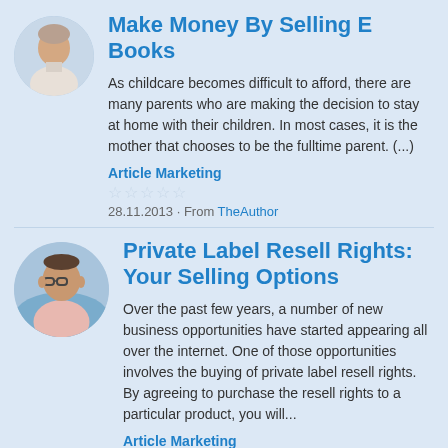Make Money By Selling E Books
As childcare becomes difficult to afford, there are many parents who are making the decision to stay at home with their children. In most cases, it is the mother that chooses to be the fulltime parent. (...)
Article Marketing
28.11.2013 · From TheAuthor
Private Label Resell Rights: Your Selling Options
Over the past few years, a number of new business opportunities have started appearing all over the internet. One of those opportunities involves the buying of private label resell rights. By agreeing to purchase the resell rights to a particular product, you will...
Article Marketing